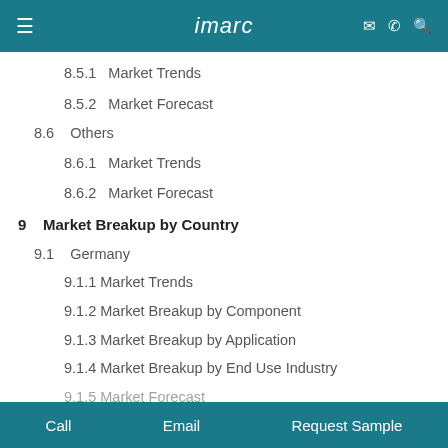imarc
8.5.1   Market Trends
8.5.2   Market Forecast
8.6   Others
8.6.1   Market Trends
8.6.2   Market Forecast
9   Market Breakup by Country
9.1   Germany
9.1.1 Market Trends
9.1.2 Market Breakup by Component
9.1.3 Market Breakup by Application
9.1.4 Market Breakup by End Use Industry
9.1.5 Market Forecast
Call   Email   Request Sample